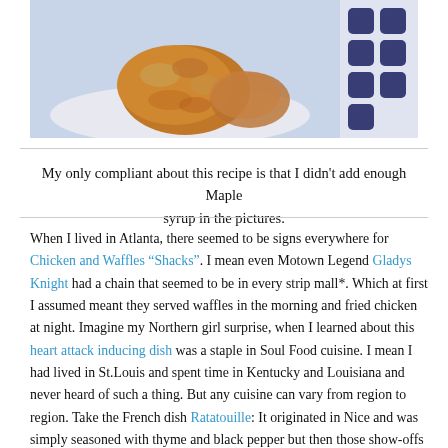[Figure (photo): Close-up photo of fried chicken pieces on a plate with blue dot pattern, light blue/grey background]
My only compliant about this recipe is that I didn't add enough Maple syrup in the pictures.
When I lived in Atlanta, there seemed to be signs everywhere for Chicken and Waffles “Shacks”. I mean even Motown Legend Gladys Knight had a chain that seemed to be in every strip mall*. Which at first I assumed meant they served waffles in the morning and fried chicken at night. Imagine my Northern girl surprise, when I learned about this heart attack inducing dish was a staple in Soul Food cuisine. I mean I had lived in St.Louis and spent time in Kentucky and Louisiana and never heard of such a thing. But any cuisine can vary from region to region. Take the French dish Ratatouille: It originated in Nice and was simply seasoned with thyme and black pepper but then those show-offs down the coast in Provence started adding all these green herbs and a bit of lavender and the flavor turned into something completely different. Well, Soul Food is no different**. You can go to a completely legit Soul Food restaurant in Texas and have a pretty different